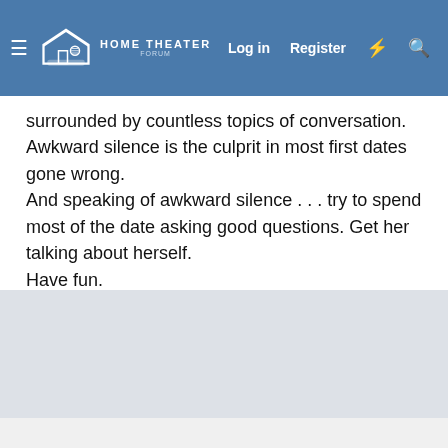[Figure (screenshot): Home Theater Forum navigation bar with logo, Log in, Register, lightning bolt icon, and search icon on a blue background]
surrounded by countless topics of conversation. Awkward silence is the culprit in most first dates gone wrong.
And speaking of awkward silence . . . try to spend most of the date asking good questions. Get her talking about herself.
Have fun.